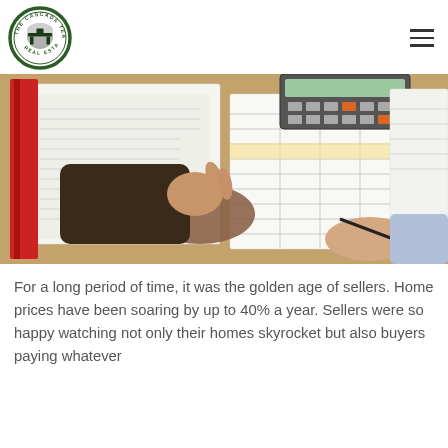[Figure (logo): The Cascade Team Real Estate circular logo with green border and house/table icon in center]
[Figure (photo): Two people reviewing real estate or financial documents on a desk with a calculator, papers, and a binder. One person holds a pen.]
For a long period of time, it was the golden age of sellers. Home prices have been soaring by up to 40% a year. Sellers were so happy watching not only their homes skyrocket but also buyers paying whatever